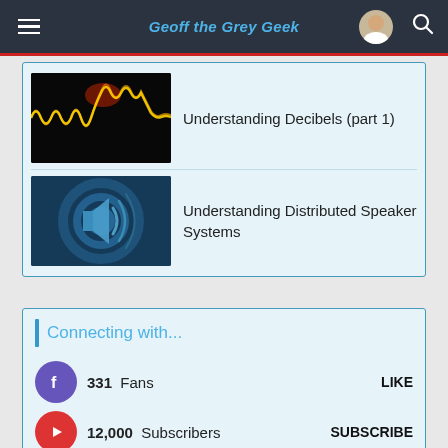Geoff the Grey Geek
Understanding Decibels (part 1)
Understanding Distributed Speaker Systems
Connecting with...
331 Fans   LIKE
12,000 Subscribers   SUBSCRIBE